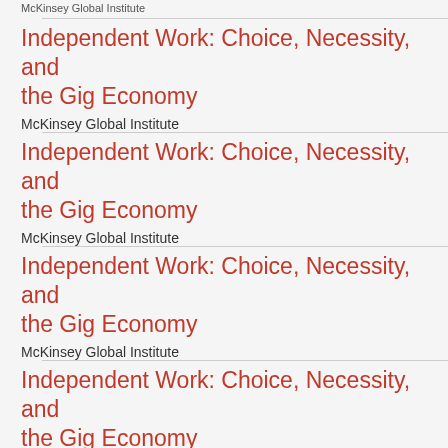McKinsey Global Institute
Independent Work: Choice, Necessity, and the Gig Economy
McKinsey Global Institute
Independent Work: Choice, Necessity, and the Gig Economy
McKinsey Global Institute
Independent Work: Choice, Necessity, and the Gig Economy
McKinsey Global Institute
Independent Work: Choice, Necessity, and the Gig Economy